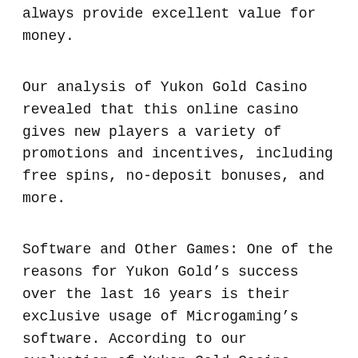always provide excellent value for money.
Our analysis of Yukon Gold Casino revealed that this online casino gives new players a variety of promotions and incentives, including free spins, no-deposit bonuses, and more.
Software and Other Games: One of the reasons for Yukon Gold’s success over the last 16 years is their exclusive usage of Microgaming’s software. According to our evaluation of Yukon Gold Casino, this online casino has some of the finest games available.
In addition, Yukon Gold Casino offers a vast selection